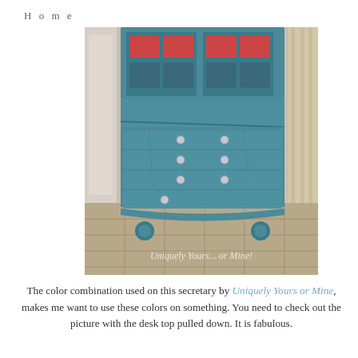H o m e
[Figure (photo): A teal/turquoise painted secretary desk/bureau with four serpentine drawers and claw feet, glass-front upper cabinet with red pane accents, photographed in a room with tile floor and curtains. Watermark reads 'Uniquely Yours... or Mine!']
The color combination used on this secretary by Uniquely Yours or Mine, makes me want to use these colors on something. You need to check out the picture with the desk top pulled down. It is fabulous.